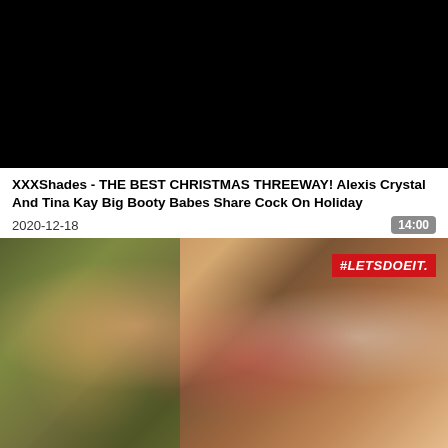[Figure (screenshot): Black video player area, no content visible]
XXXShades - THE BEST CHRISTMAS THREEWAY! Alexis Crystal And Tina Kay Big Booty Babes Share Cock On Holiday
2020-12-18
14:00
[Figure (photo): Thumbnail image with #LETSDOEIT branding showing three people in a Christmas-themed scene]